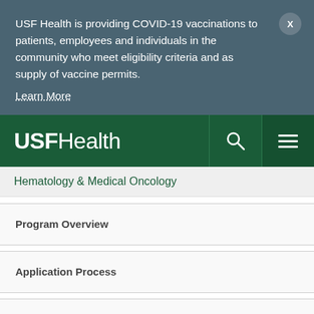USF Health is providing COVID-19 vaccinations to patients, employees and individuals in the community who meet eligibility criteria and as supply of vaccine permits.
Learn More
[Figure (logo): USF Health logo in white text on dark green navigation bar with search and hamburger menu icons]
Hematology & Medical Oncology
Program Overview
Application Process
Curriculum
Our Fellows